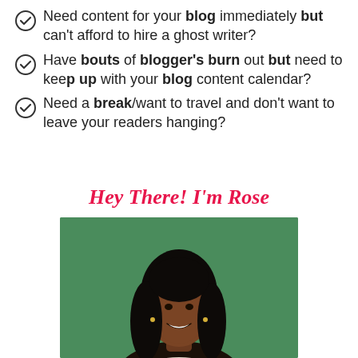Need content for your blog immediately but can't afford to hire a ghost writer?
Have bouts of blogger's burn out but need to keep up with your blog content calendar?
Need a break/want to travel and don't want to leave your readers hanging?
Hey There! I'm Rose
[Figure (photo): Portrait photo of a smiling young Black woman with long dark wavy hair, wearing a white top, against a green background.]